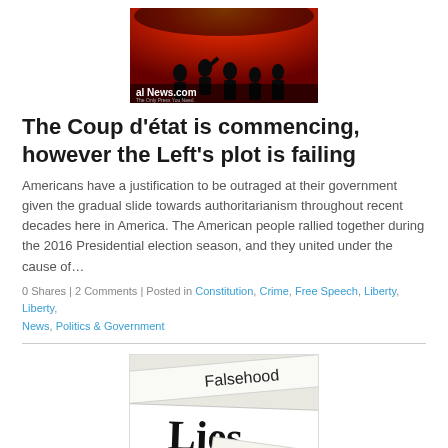[Figure (photo): Dark image showing silhouettes of people against a fiery red/orange background with a news website logo overlay reading 'al News.com']
The Coup d’état is commencing, however the Left’s plot is failing
Americans have a justification to be outraged at their government given the gradual slide towards authoritarianism throughout recent decades here in America. The American people rallied together during the 2016 Presidential election season, and they united under the cause of…
0 Shares | 2 Comments | Posted in Constitution, Crime, Free Speech, Liberty, Liberty, News, Politics & Government
[Figure (photo): Image of overlapping paper strips with words: Falsehood, Lies, Fabrication, Dishonesty, Evasion printed on them in large text]
When Discussion of a Crime Becomes a Crime